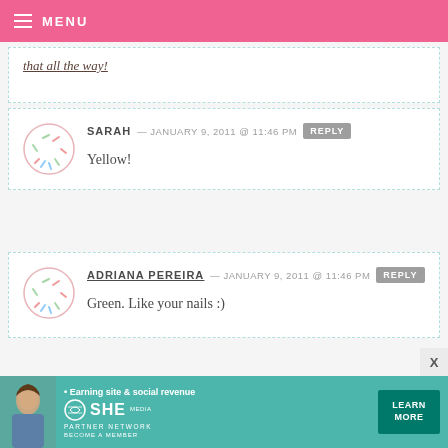MENU
that all the way!
SARAH — JANUARY 9, 2011 @ 11:46 PM REPLY
Yellow!
ADRIANA PEREIRA — JANUARY 9, 2011 @ 11:46 PM REPLY
Green. Like your nails :)
[Figure (infographic): SHE Partner Network advertisement banner with teal background, woman photo, bullet point about earning site & social revenue, SHE logo, and Learn More button]